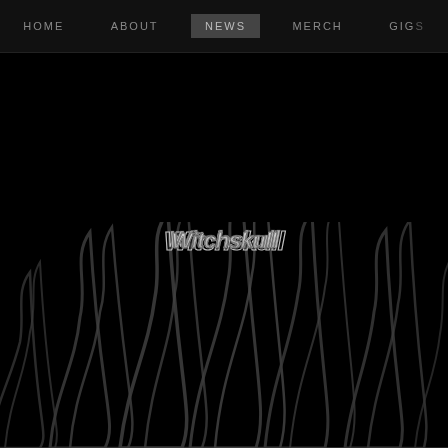HOME  ABOUT  NEWS  MERCH  GIGS
[Figure (logo): Witchskull band logo in ornate metal lettering with jagged spiky font, silver/white on black background, with large dark flame shapes rising below it]